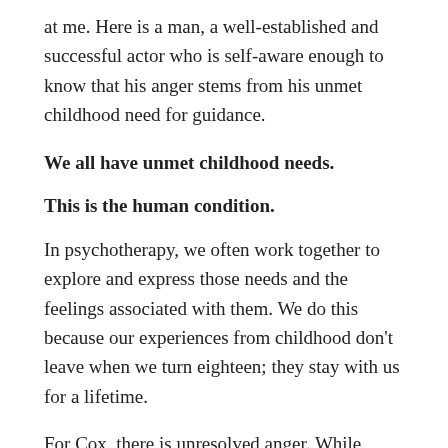at me. Here is a man, a well-established and successful actor who is self-aware enough to know that his anger stems from his unmet childhood need for guidance.
We all have unmet childhood needs.
This is the human condition.
In psychotherapy, we often work together to explore and express those needs and the feelings associated with them. We do this because our experiences from childhood don't leave when we turn eighteen; they stay with us for a lifetime.
For Cox, there is unresolved anger. While knowing and expressing it are both positive